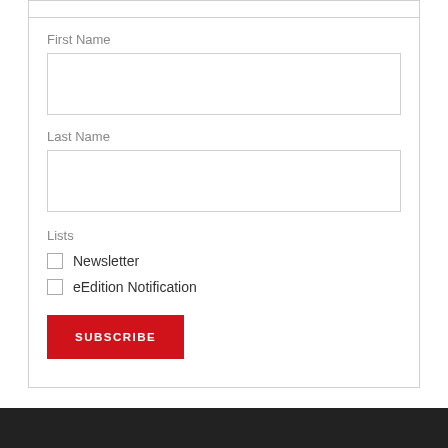First Name
Last Name
Lists
Newsletter
eEdition Notification
SUBSCRIBE